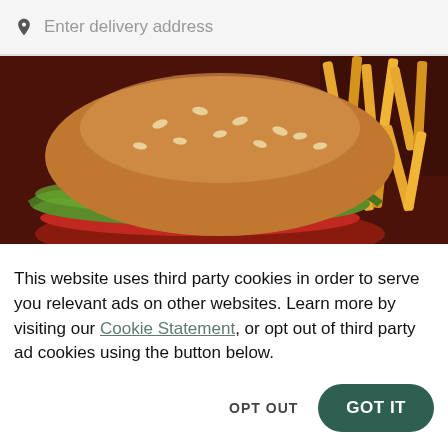Enter delivery address
[Figure (photo): Close-up photo of a burger with sesame seed bun, lettuce, and tomato, with french fries in the background, on a dark brown background.]
Burger King (1540 Butterfield Road)
New
This website uses third party cookies in order to serve you relevant ads on other websites. Learn more by visiting our Cookie Statement, or opt out of third party ad cookies using the button below.
OPT OUT
GOT IT